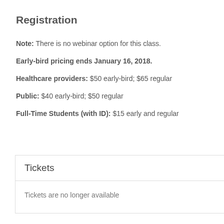Registration
Note: There is no webinar option for this class.
Early-bird pricing ends January 16, 2018.
Healthcare providers: $50 early-bird; $65 regular
Public: $40 early-bird; $50 regular
Full-Time Students (with ID): $15 early and regular
Tickets
Tickets are no longer available